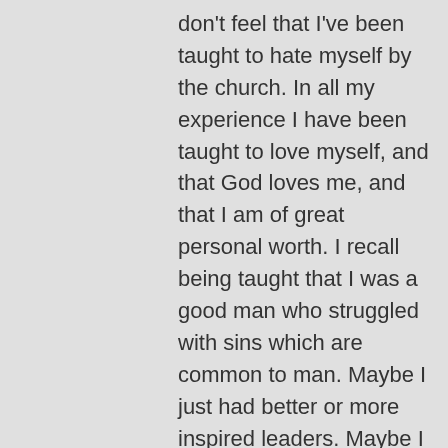don't feel that I've been taught to hate myself by the church. In all my experience I have been taught to love myself, and that God loves me, and that I am of great personal worth. I recall being taught that I was a good man who struggled with sins which are common to man. Maybe I just had better or more inspired leaders. Maybe I took a different focus or saw or heard things that many others did not. I've also observed that for many, it is part of the 'natural man' to see the negative in things. This could count for us in our focus on